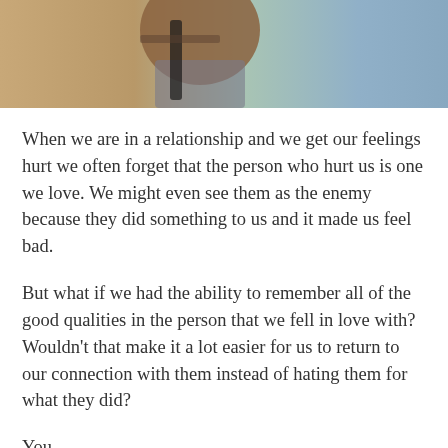[Figure (photo): A close-up photo of a person outdoors, partially visible, with blurred background of greenery and light.]
When we are in a relationship and we get our feelings hurt we often forget that the person who hurt us is one we love. We might even see them as the enemy because they did something to us and it made us feel bad.
But what if we had the ability to remember all of the good qualities in the person that we fell in love with? Wouldn't that make it a lot easier for us to return to our connection with them instead of hating them for what they did?
You...